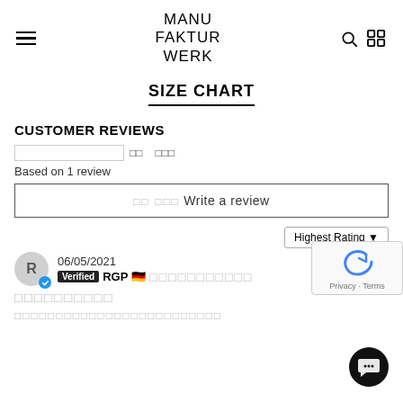MANU FAKTUR WERK
SIZE CHART
CUSTOMER REVIEWS
Based on 1 review
Write a review
Highest Rating
06/05/2021
Verified RGP [Germany flag] [placeholder blocks]
[placeholder title blocks]
[placeholder body blocks]